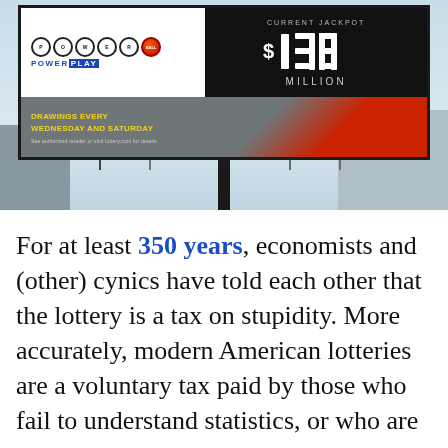[Figure (photo): Photograph of a Powerball lottery billboard showing 'Current Jackpot $138 Million' with 'Drawings Every Wednesday and Saturday' text. Billboard is on a pole with Hughes branding, set against a winter sky with bare trees and industrial buildings in background.]
For at least 350 years, economists and (other) cynics have told each other that the lottery is a tax on stupidity. More accurately, modern American lotteries are a voluntary tax paid by those who fail to understand statistics, or who are willing to suspend critical thinking.